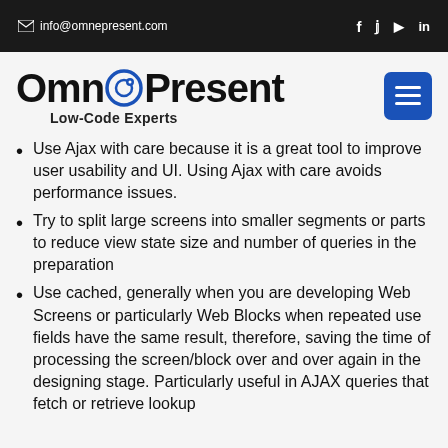info@omnepresent.com
[Figure (logo): OmnePresent logo with tagline 'Low-Code Experts']
Use Ajax with care because it is a great tool to improve user usability and UI. Using Ajax with care avoids performance issues.
Try to split large screens into smaller segments or parts to reduce view state size and number of queries in the preparation
Use cached, generally when you are developing Web Screens or particularly Web Blocks when repeated use fields have the same result, therefore, saving the time of processing the screen/block over and over again in the designing stage. Particularly useful in AJAX queries that fetch or retrieve lookup